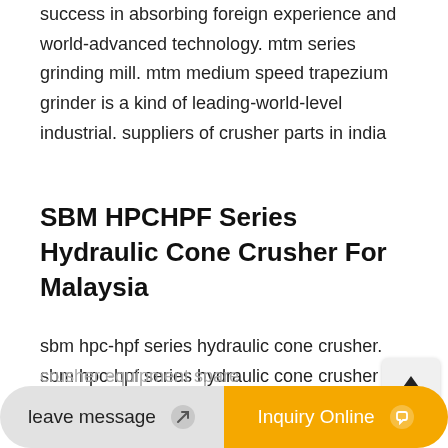success in absorbing foreign experience and world-advanced technology. mtm series grinding mill. mtm medium speed trapezium grinder is a kind of leading-world-level industrial. suppliers of crusher parts in india
SBM HPCHPF Series Hydraulic Cone Crusher For Malaysia
sbm hpc-hpf series hydraulic cone crusher. sbm hpc-hpf series hydraulic cone crusher is popular as secondary and tertiary crushing equipemnt. for almost 30 years, our hydraulic rock crushers have been widely used in malaysia iron ore mining industries. our cone crusher for iron ore mining and
crusher equipment spare